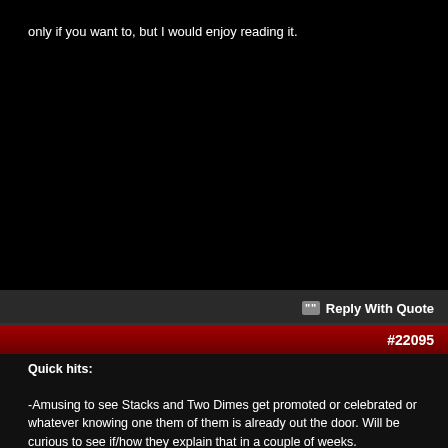only if you want to, but I would enjoy reading it.
Reply With Quote
#22095
Quick hits:

-Amusing to see Stacks and Two Dimes get promoted or celebrated or whatever knowing one them of them is already out the door. Will be curious to see if/how they explain that in a couple of weeks.

-Tag title match was solid and a nice contrast of styles.

-Choo blasting Stratton with confetti (in the tits) right in front of the ref was dumb. Stratton/Choo feuding is fine, though, as I like them both.

-The Apollo Crews vignette was super wierd. he's taking about time and correcting his past in NXT and all but then there's this weird fantasy sequences where he fucking assaults an asshole in a diner and then..real life, the whole thing repeats, and he fucking assaults a man in a diner for realz. ...whut?